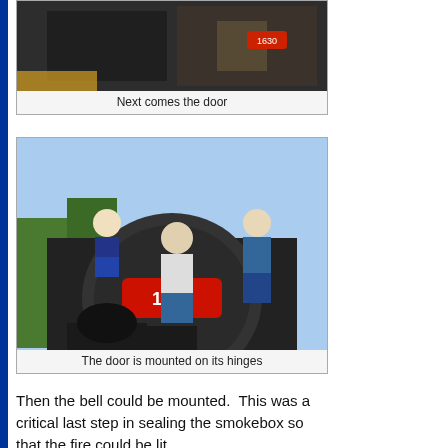[Figure (photo): A steam locomotive being worked on in a workshop or rail yard, interior/dark setting. Partially cut off at top of page.]
Next comes the door
[Figure (photo): Workers mounting the smokebox door on a steam locomotive numbered 1630. The door shows a red number plate reading '1630'. Three workers visible working on the front of the locomotive outdoors.]
The door is mounted on its hinges
Then the bell could be mounted.  This was a critical last step in sealing the smokebox so that the fire could be lit.
[Figure (photo): Workers mounting a bell on top of a steam locomotive. A yellow lifting device is visible at the top. Workers are positioned on the locomotive during the installation.]